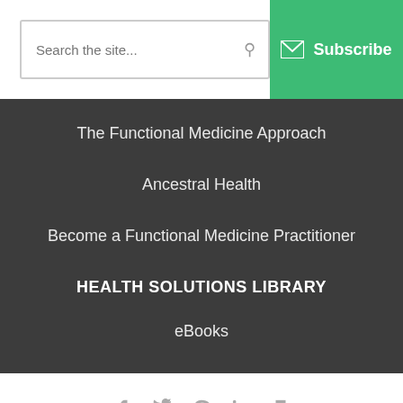Search the site...
Subscribe
The Functional Medicine Approach
Ancestral Health
Become a Functional Medicine Practitioner
HEALTH SOLUTIONS LIBRARY
eBooks
Social share icons: Facebook, Twitter, Pinterest, LinkedIn, Print